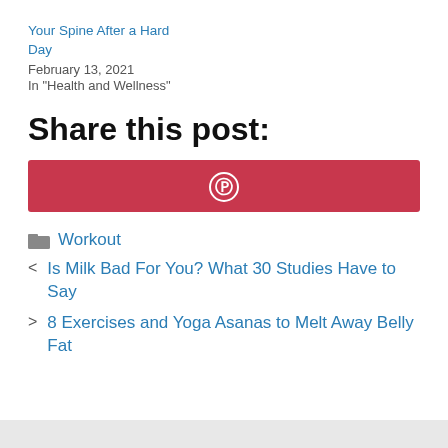Your Spine After a Hard Day
February 13, 2021
In "Health and Wellness"
Share this post:
[Figure (other): Pinterest share button — red/crimson rectangle with white Pinterest 'P' circle logo in the center]
Workout
< Is Milk Bad For You? What 30 Studies Have to Say
> 8 Exercises and Yoga Asanas to Melt Away Belly Fat